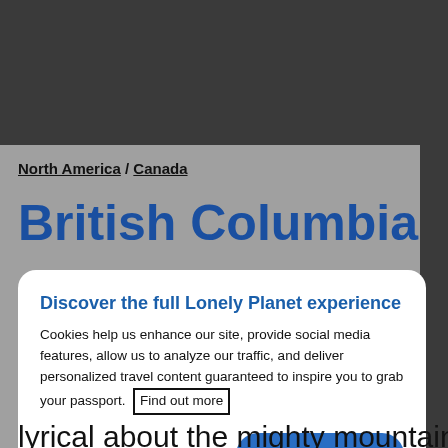[Figure (screenshot): Dark gray header background area of a website]
North America / Canada
British Columbia
Discover the full Lonely Planet experience
Cookies help us enhance our site, provide social media features, allow us to analyze our traffic, and deliver personalized travel content guaranteed to inspire you to grab your passport. Find out more
Review Cookie Settings
Accept Cookies
lyrical about the mighty mountains